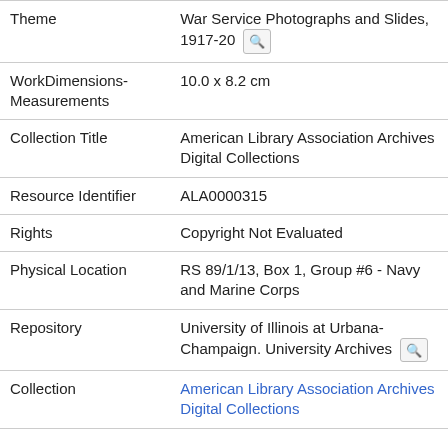| Field | Value |
| --- | --- |
| Theme | War Service Photographs and Slides, 1917-20 |
| WorkDimensions-Measurements | 10.0 x 8.2 cm |
| Collection Title | American Library Association Archives Digital Collections |
| Resource Identifier | ALA0000315 |
| Rights | Copyright Not Evaluated |
| Physical Location | RS 89/1/13, Box 1, Group #6 - Navy and Marine Corps |
| Repository | University of Illinois at Urbana-Champaign. University Archives |
| Collection | American Library Association Archives Digital Collections |